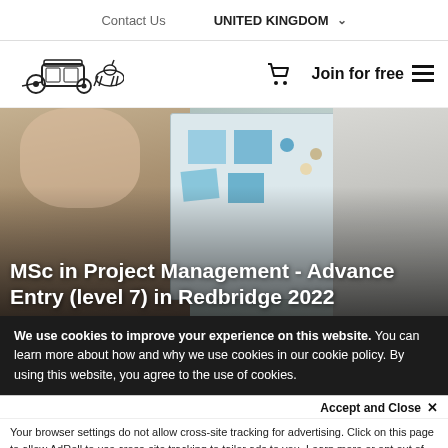Contact Us   UNITED KINGDOM ˅
[Figure (logo): Horse-drawn carriage logo icon]
Join for free  ☰
[Figure (photo): Two people collaborating at a whiteboard with sticky notes]
MSc in Project Management - Advance Entry (level 7) in Redbridge 2022
We use cookies to improve your experience on this website. You can learn more about how and why we use cookies in our cookie policy. By using this website, you agree to the use of cookies.
Accept and Close ✕
Your browser settings do not allow cross-site tracking for advertising. Click on this page to allow AdRoll to use cross-site tracking to tailor ads to you. Learn more or opt out of this AdRoll tracking by clicking here. This message only appears once.